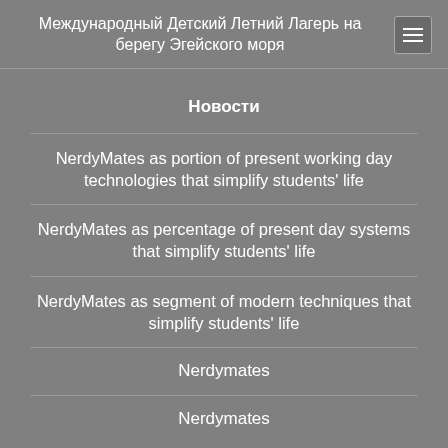Международный Детский Летний Лагерь на берегу Эгейского моря
Новости
NerdyMates as portion of present working day technologies that simplify students' life
NerdyMates as percentage of present day systems that simplify students' life
NerdyMates as segment of modern techniques that simplify students' life
Nerdymates
Nerdymates
Читать все новости